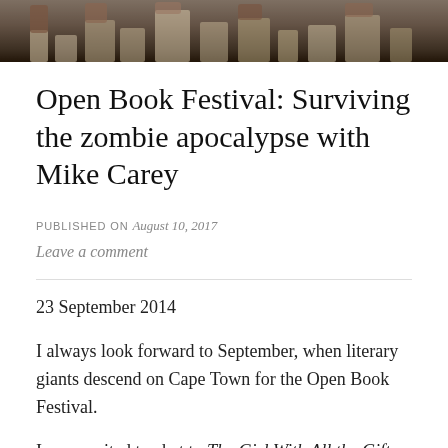[Figure (photo): A cropped photograph showing people seated, visible from approximately waist/torso down, in what appears to be a panel or event setting with wooden chairs.]
Open Book Festival: Surviving the zombie apocalypse with Mike Carey
PUBLISHED ON August 10, 2017
Leave a comment
23 September 2014
I always look forward to September, when literary giants descend on Cape Town for the Open Book Festival.
I was excited to chat to The Girl With All the Gifts author Mike Carey for Open Book's first-ever zombie dress up event. I arrived dressed as Dr Caldwell, a character from